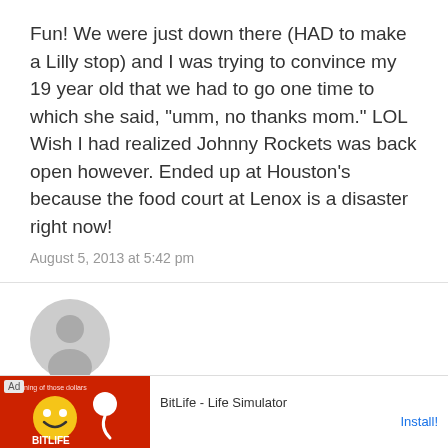Fun! We were just down there (HAD to make a Lilly stop) and I was trying to convince my 19 year old that we had to go one time to which she said, "umm, no thanks mom." LOL Wish I had realized Johnny Rockets was back open however. Ended up at Houston's because the food court at Lenox is a disaster right now!
August 5, 2013 at 5:42 pm
[Figure (illustration): Gray circular default avatar/profile picture icon]
pembrokeshire lass says:
Looks like ... much ...
[Figure (screenshot): Advertisement banner for BitLife - Life Simulator app with red background, emoji graphics, and Install button]